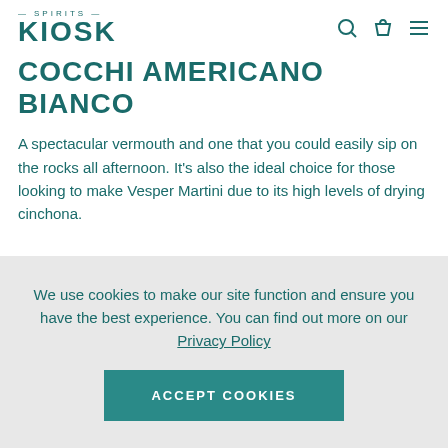SPIRITS KIOSK
COCCHI AMERICANO BIANCO
A spectacular vermouth and one that you could easily sip on the rocks all afternoon. It's also the ideal choice for those looking to make Vesper Martini due to its high levels of drying cinchona.
We use cookies to make our site function and ensure you have the best experience. You can find out more on our Privacy Policy
ACCEPT COOKIES